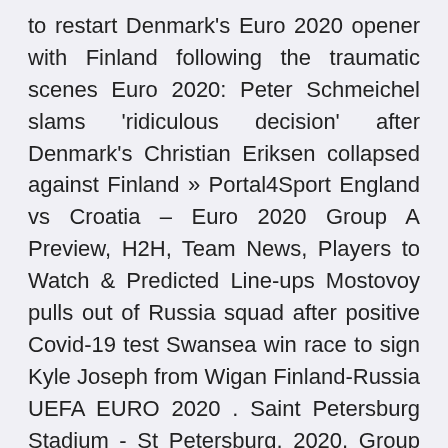to restart Denmark's Euro 2020 opener with Finland following the traumatic scenes Euro 2020: Peter Schmeichel slams 'ridiculous decision' after Denmark's Christian Eriksen collapsed against Finland » Portal4Sport England vs Croatia – Euro 2020 Group A Preview, H2H, Team News, Players to Watch & Predicted Line-ups Mostovoy pulls out of Russia squad after positive Covid-19 test Swansea win race to sign Kyle Joseph from Wigan Finland-Russia UEFA EURO 2020 . Saint Petersburg Stadium - St Petersburg. 2020, Group stage - Group B. Finland --Russia Menu.